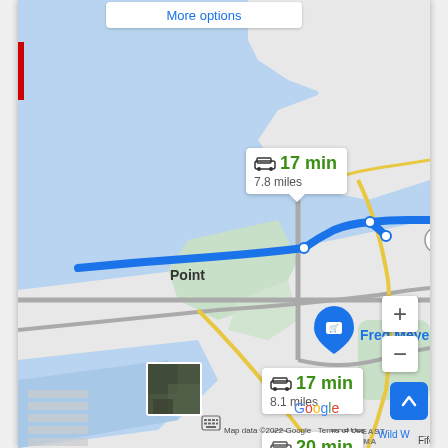[Figure (screenshot): Google Maps screenshot showing driving routes near Tacoma, WA area. Three route options are shown: Route 1 (17 min, 7.8 miles) highlighted in blue, Route 2 (17 min, 8.1 miles), and Route 3 (20 min, 8.6 miles). Map shows Point Defiance area, Fred Meyer location, Northeast Tacoma label, Seaport, and Fife Heights. Map data copyright 2022 Google.]
More options
17 min
7.8 miles
17 min
8.1 miles
20 min
8.6 miles
509
509
Point
Fred Meyer
NORTHEAST TACOMA
Wild W
Seaport
Google
Fife Heights
Map data ©2022 Google   Terms of Use